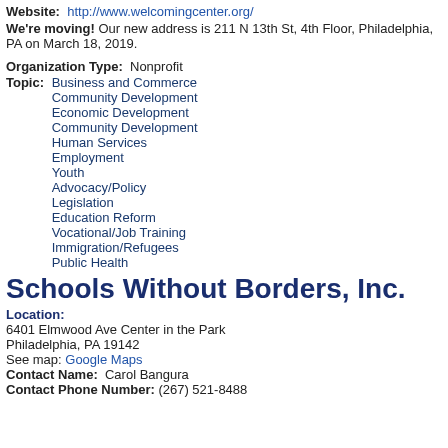Website: http://www.welcomingcenter.org/
We're moving! Our new address is 211 N 13th St, 4th Floor, Philadelphia, PA on March 18, 2019.
Organization Type: Nonprofit
Topic: Business and Commerce
Community Development
Economic Development
Community Development
Human Services
Employment
Youth
Advocacy/Policy
Legislation
Education Reform
Vocational/Job Training
Immigration/Refugees
Public Health
Schools Without Borders, Inc.
Location:
6401 Elmwood Ave Center in the Park
Philadelphia, PA 19142
See map: Google Maps
Contact Name: Carol Bangura
Contact Phone Number: (267) 521-8488